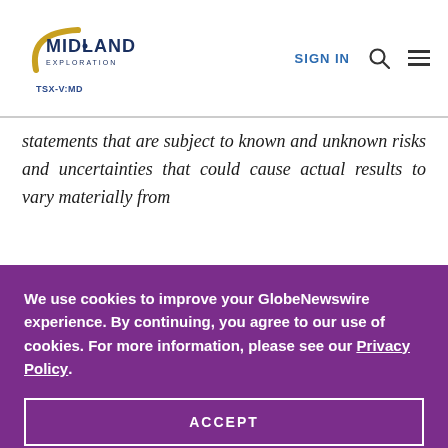Midland Exploration | SIGN IN | TSX-V:MD
statements that are subject to known and unknown risks and uncertainties that could cause actual results to vary materially from
We use cookies to improve your GlobeNewswire experience. By continuing, you agree to our use of cookies. For more information, please see our Privacy Policy.
ACCEPT